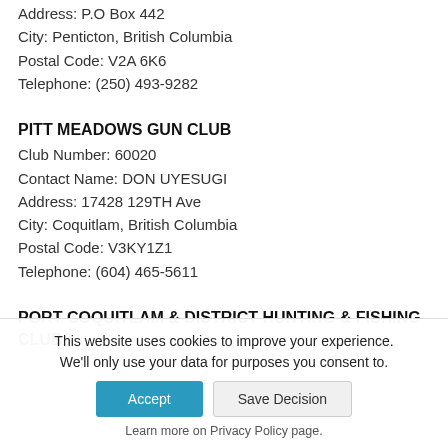Address: P.O Box 442
City: Penticton, British Columbia
Postal Code: V2A 6K6
Telephone: (250) 493-9282
PITT MEADOWS GUN CLUB
Club Number: 60020
Contact Name: DON UYESUGI
Address: 17428 129TH Ave
City: Coquitlam, British Columbia
Postal Code: V3KY1Z1
Telephone: (604) 465-5611
PORT COQUITLAM & DISTRICT HUNTING & FISHING CLUB
This website uses cookies to improve your experience. We'll only use your data for purposes you consent to.
Learn more on Privacy Policy page.